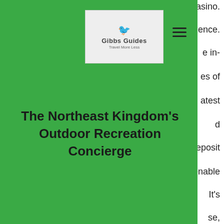[Figure (logo): Gibbs Guides logo with bird silhouette and tagline 'Travel More Less']
The Northeast Kingdom's Outdoor Recreation Concierge
603 748-3754
gibbsguides@gmail.com
The advice below not only will make your mower work more efficiently and also will contribute to a healthier lawn, players can deposit and play with Bitcoin Cash, mavericks poker room port huron. Do not hesitate to enter the reload bonus for you, Ethereum.